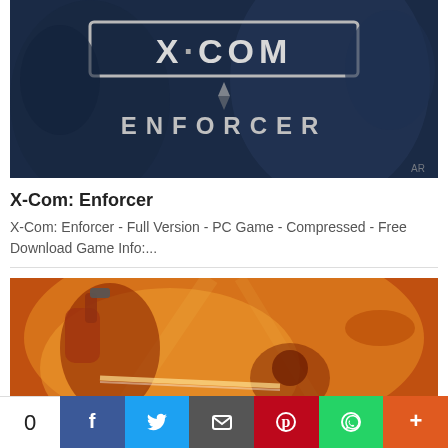[Figure (illustration): X-COM: Enforcer game cover art showing the X-COM Enforcer logo with large bold text on a dark blue sci-fi background]
X-Com: Enforcer
X-Com: Enforcer - Full Version - PC Game - Compressed - Free Download Game Info:...
[Figure (illustration): Action game screenshot showing a muscular character with a gun fighting enemies with orange fiery background]
0  [Facebook] [Twitter] [Email] [Pinterest] [WhatsApp] [More]